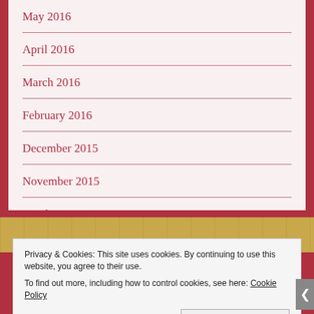May 2016
April 2016
March 2016
February 2016
December 2015
November 2015
October 2015
Privacy & Cookies: This site uses cookies. By continuing to use this website, you agree to their use.
To find out more, including how to control cookies, see here: Cookie Policy
Close and accept